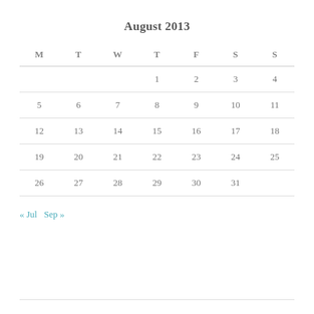August 2013
| M | T | W | T | F | S | S |
| --- | --- | --- | --- | --- | --- | --- |
|  |  |  | 1 | 2 | 3 | 4 |
| 5 | 6 | 7 | 8 | 9 | 10 | 11 |
| 12 | 13 | 14 | 15 | 16 | 17 | 18 |
| 19 | 20 | 21 | 22 | 23 | 24 | 25 |
| 26 | 27 | 28 | 29 | 30 | 31 |  |
« Jul   Sep »